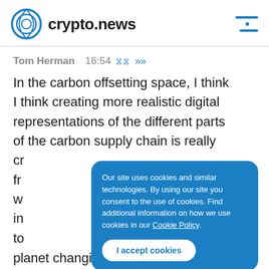crypto.news
Tom Herman  16:54
In the carbon offsetting space, I think I think creating more realistic digital representations of the different parts of the carbon supply chain is really cr... fr... w... in... to...
Our site uses cookies and similar technologies. By using our site you consent to the use of cookies. Find additional information on how we use cookies in our Cookie Policy.
I accept cookies
planet changing? Where the